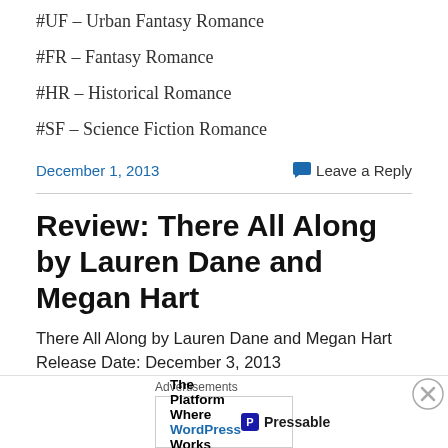#UF – Urban Fantasy Romance
#FR – Fantasy Romance
#HR – Historical Romance
#SF – Science Fiction Romance
December 1, 2013   Leave a Reply
Review: There All Along by Lauren Dane and Megan Hart
There All Along by Lauren Dane and Megan Hart
Release Date: December 3, 2013
Advertisements The Platform Where WordPress Works Best   Pressable